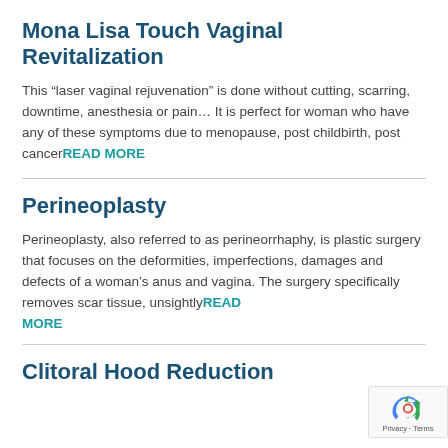Mona Lisa Touch Vaginal Revitalization
This “laser vaginal rejuvenation” is done without cutting, scarring, downtime, anesthesia or pain… It is perfect for woman who have any of these symptoms due to menopause, post childbirth, post cancerREAD MORE
Perineoplasty
Perineoplasty, also referred to as perineorrhaphy, is plastic surgery that focuses on the deformities, imperfections, damages and defects of a woman’s anus and vagina. The surgery specifically removes scar tissue, unsightlyREAD MORE
Clitoral Hood Reduction